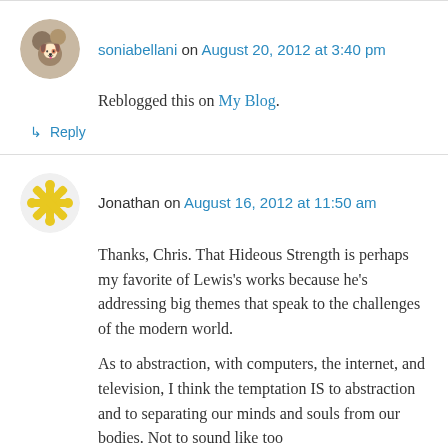[Figure (illustration): Circular avatar image for user soniabellani]
soniabellani on August 20, 2012 at 3:40 pm
Reblogged this on My Blog.
↳ Reply
[Figure (illustration): Circular avatar image for user Jonathan, yellow snowflake-style pattern]
Jonathan on August 16, 2012 at 11:50 am
Thanks, Chris. That Hideous Strength is perhaps my favorite of Lewis's works because he's addressing big themes that speak to the challenges of the modern world.
As to abstraction, with computers, the internet, and television, I think the temptation IS to abstraction and to separating our minds and souls from our bodies. Not to sound like too